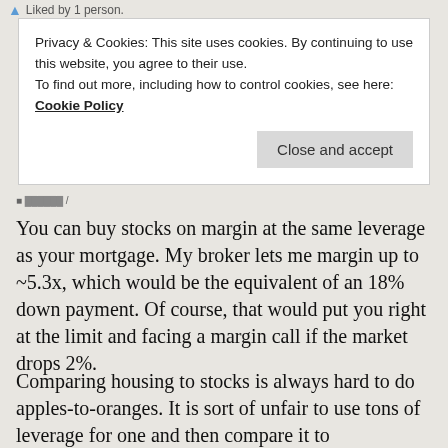Liked by 1 person.
Privacy & Cookies: This site uses cookies. By continuing to use this website, you agree to their use.
To find out more, including how to control cookies, see here: Cookie Policy
Close and accept
You can buy stocks on margin at the same leverage as your mortgage. My broker lets me margin up to ~5.3x, which would be the equivalent of an 18% down payment. Of course, that would put you right at the limit and facing a margin call if the market drops 2%.
Comparing housing to stocks is always hard to do apples-to-oranges. It is sort of unfair to use tons of leverage for one and then compare it to unleveraged returns for the other. On the other hand, the reality is that virtually everyone uses li...